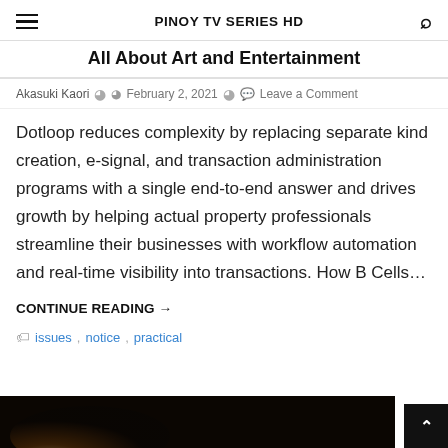PINOY TV SERIES HD
All About Art and Entertainment
Akasuki Kaori  ⊙  February 2, 2021  ☁  Leave a Comment
Dotloop reduces complexity by replacing separate kind creation, e-signal, and transaction administration programs with a single end-to-end answer and drives growth by helping actual property professionals streamline their businesses with workflow automation and real-time visibility into transactions. How B Cells…
CONTINUE READING →
issues, notice, practical
[Figure (photo): Dark-toned preview image at the bottom of the page, partially visible, showing a dimly lit scene.]